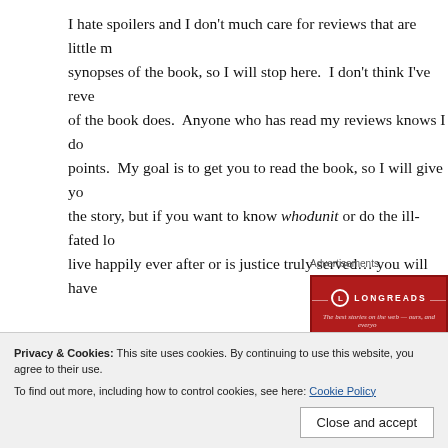I hate spoilers and I don't much care for reviews that are little more than synopses of the book, so I will stop here.  I don't think I've revealed more of the book does.  Anyone who has read my reviews knows I don't give away points.  My goal is to get you to read the book, so I will give you a taste of the story, but if you want to know whodunit or do the ill-fated lovers live happily ever after or is justice truly served… you will have
Advertisements
[Figure (other): Longreads advertisement banner with red background, logo and tagline 'The best stories on the web — ours, and everyone else's']
In closing, Karen Bergreen's wicked sense of humor truly shines definitely a must-read and I can recommend it without hesitation.
Privacy & Cookies: This site uses cookies. By continuing to use this website, you agree to their use.
To find out more, including how to control cookies, see here: Cookie Policy